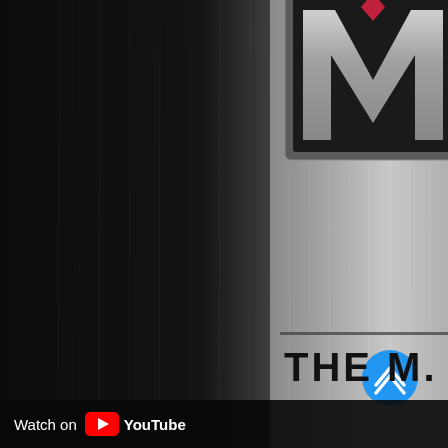[Figure (logo): A YouTube video thumbnail/screenshot showing a brushed metal dark background with a large stylized M logo in a square frame (metallic silver with black M shape and a red tie/diamond accent at the top). Below the logo reads 'THE M. K' in bold dark text. A blue circular scroll-up button appears in the lower right. At the bottom is a dark bar with 'Watch on YouTube' text and the YouTube logo icon.]
Watch on YouTube